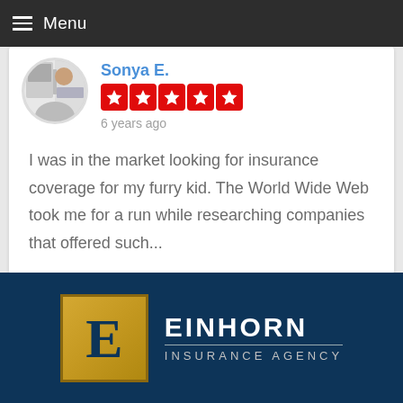Menu
Sonya E.
6 years ago
I was in the market looking for insurance coverage for my furry kid. The World Wide Web took me for a run while researching companies that offered such...
[Figure (logo): Einhorn Insurance Agency logo: gold square with letter E, beside text EINHORN INSURANCE AGENCY on dark navy background]